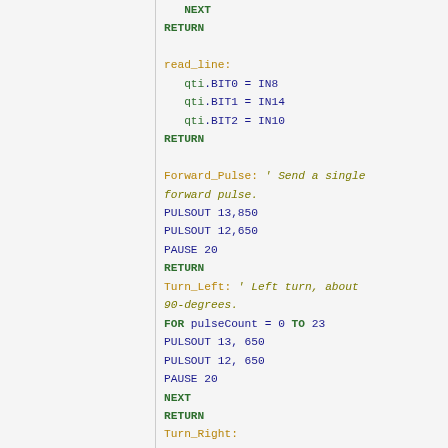Code listing showing BASIC Stamp subroutines: NEXT, RETURN, read_line (with qti.BIT0=IN8, qti.BIT1=IN14, qti.BIT2=IN10), Forward_Pulse (PULSOUT 13,850; PULSOUT 12,650; PAUSE 20), Turn_Left (FOR pulseCount=0 TO 23; PULSOUT 13,650; PULSOUT 12,650; PAUSE 20; NEXT), Turn_Right (FOR pulseCount=0 TO 25; PULSOUT 13,850; PULSOUT 12,850; PAUSE 20; NEXT), Back_up (FOR pulseCount=0 TO 8)